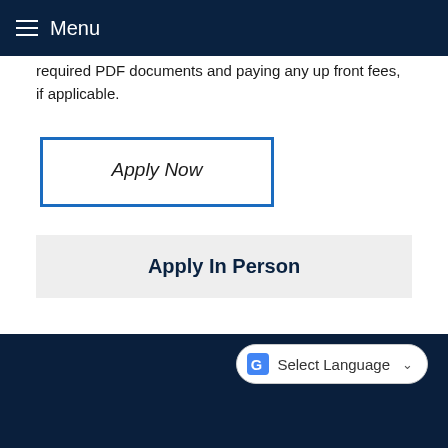Menu
required PDF documents and paying any up front fees, if applicable.
[Figure (other): Apply Now button with blue border]
Apply In Person
[Figure (other): Google Translate Select Language pill widget]